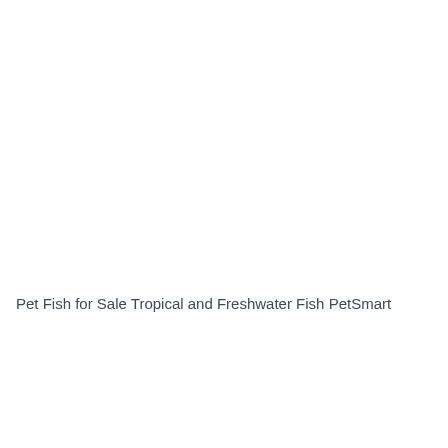Pet Fish for Sale Tropical and Freshwater Fish PetSmart